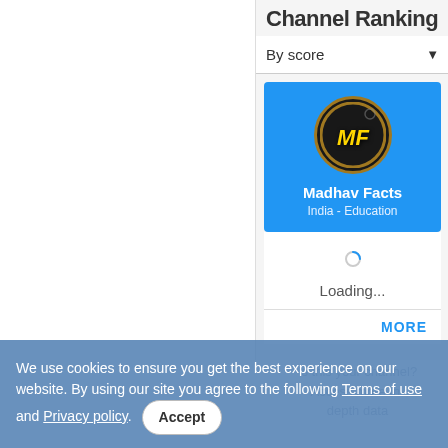Channel Ranking
By score
[Figure (logo): Madhav Facts YouTube channel logo: circular badge with black background, gold border, and yellow stylized 'MF' text in the center]
Madhav Facts
India - Education
Loading...
MORE
Is this your channel? Access more In- depth data
We use cookies to ensure you get the best experience on our website. By using our site you agree to the following Terms of use and Privacy policy.